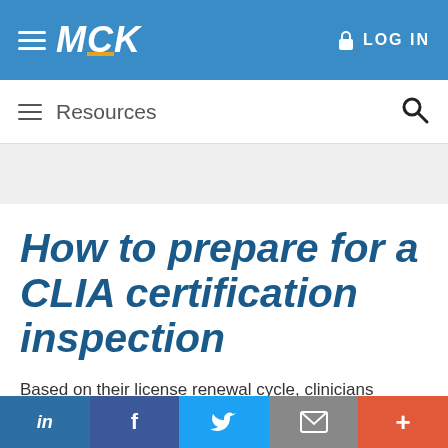MCK | LOG IN
Resources
How to prepare for a CLIA certification inspection
Based on their license renewal cycle, clinicians running
in  f  [twitter]  [email]  +